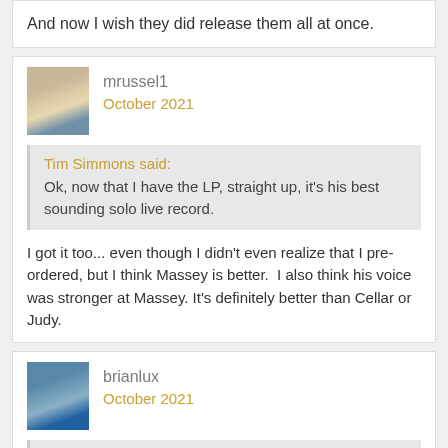And now I wish they did release them all at once.
mrussel1
October 2021
Tim Simmons said: Ok, now that I have the LP, straight up, it's his best sounding solo live record.
I got it too... even though I didn't even realize that I pre-ordered, but I think Massey is better.  I also think his voice was stronger at Massey. It's definitely better than Cellar or Judy.
brianlux
October 2021
Tim Simmons said: Ok, now that I have the LP, straight up, it's his best sounding solo live record.